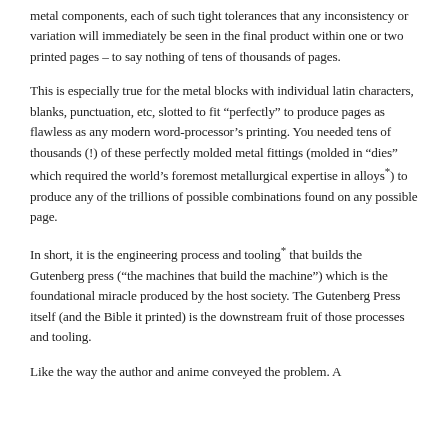metal components, each of such tight tolerances that any inconsistency or variation will immediately be seen in the final product within one or two printed pages – to say nothing of tens of thousands of pages.
This is especially true for the metal blocks with individual latin characters, blanks, punctuation, etc, slotted to fit "perfectly" to produce pages as flawless as any modern word-processor's printing. You needed tens of thousands (!) of these perfectly molded metal fittings (molded in "dies" which required the world's foremost metallurgical expertise in alloys*) to produce any of the trillions of possible combinations found on any possible page.
In short, it is the engineering process and tooling* that builds the Gutenberg press ("the machines that build the machine") which is the foundational miracle produced by the host society. The Gutenberg Press itself (and the Bible it printed) is the downstream fruit of those processes and tooling.
Like the way the author and anime conveyed the problem. A